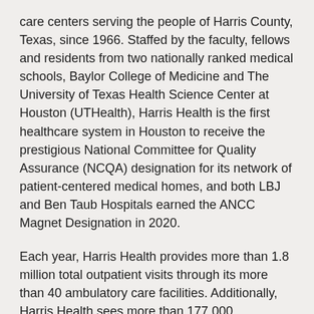care centers serving the people of Harris County, Texas, since 1966. Staffed by the faculty, fellows and residents from two nationally ranked medical schools, Baylor College of Medicine and The University of Texas Health Science Center at Houston (UTHealth), Harris Health is the first healthcare system in Houston to receive the prestigious National Committee for Quality Assurance (NCQA) designation for its network of patient-centered medical homes, and both LBJ and Ben Taub Hospitals earned the ANCC Magnet Designation in 2020.
Each year, Harris Health provides more than 1.8 million total outpatient visits through its more than 40 ambulatory care facilities. Additionally, Harris Health sees more than 177,000 emergency visits at its Level 1 and Level 3 trauma centers and 35,000 hospital admissions through its three hospitals: Ben Taub, LBJ and Quentin Mease.
Harris Health is an Equal Opportunity Employer that